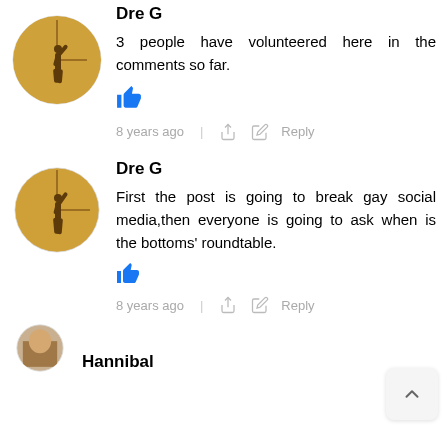[Figure (photo): Circular avatar of Dre G - silhouette of person on warm yellow/tan background (top, partially cropped)]
Dre G
3 people have volunteered here in the comments so far.
8 years ago  |  Reply
[Figure (photo): Circular avatar of Dre G - silhouette of person on warm yellow/tan background]
Dre G
First the post is going to break gay social media,then everyone is going to ask when is the bottoms' roundtable.
8 years ago  |  Reply
[Figure (photo): Circular avatar of Hannibal - partially visible at bottom of page]
Hannibal